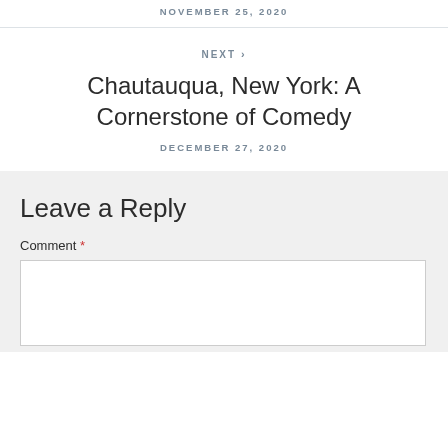NOVEMBER 25, 2020
NEXT > Chautauqua, New York: A Cornerstone of Comedy DECEMBER 27, 2020
Leave a Reply
Comment *